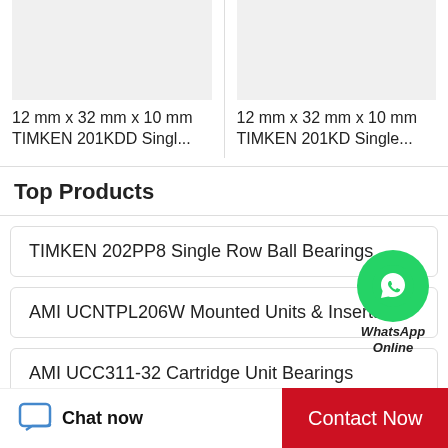[Figure (photo): Product image placeholder (light gray box) for TIMKEN 201KDD Single Row Ball Bearing]
[Figure (photo): Product image placeholder (light gray box) for TIMKEN 201KD Single Row Ball Bearing]
12 mm x 32 mm x 10 mm TIMKEN 201KDD Singl...
12 mm x 32 mm x 10 mm TIMKEN 201KD Single...
Top Products
TIMKEN 202PP8 Single Row Ball Bearings
AMI UCNTPL206W Mounted Units & Inserts
AMI UCC311-32 Cartridge Unit Bearings
CONSOLIDATED BEARING CRBS-36 Cam...
[Figure (illustration): WhatsApp green circle icon with phone handset, labeled WhatsApp Online]
Chat now
Contact Now